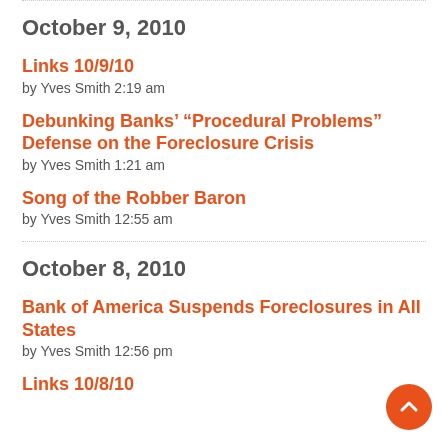October 9, 2010
Links 10/9/10
by Yves Smith 2:19 am
Debunking Banks’ “Procedural Problems” Defense on the Foreclosure Crisis
by Yves Smith 1:21 am
Song of the Robber Baron
by Yves Smith 12:55 am
October 8, 2010
Bank of America Suspends Foreclosures in All States
by Yves Smith 12:56 pm
Links 10/8/10